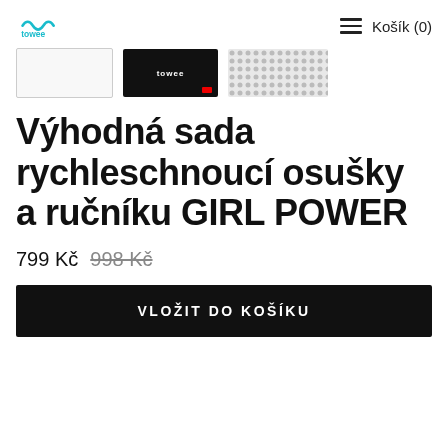Košík (0)
[Figure (screenshot): Three product thumbnail images in a row showing towels/quick-dry towels]
Výhodná sada rychleschnoucí osušky a ručníku GIRL POWER
799 Kč  998 Kč (strikethrough)
VLOŽIT DO KOŠÍKU